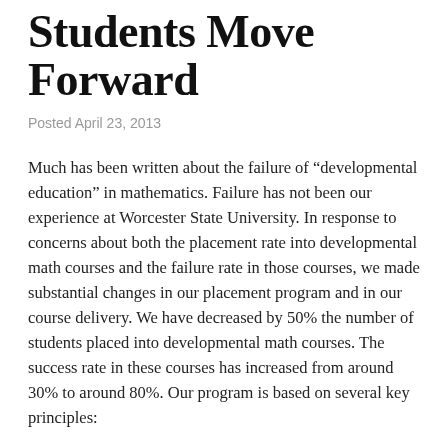Students Move Forward
Posted April 23, 2013
Much has been written about the failure of “developmental education” in mathematics. Failure has not been our experience at Worcester State University. In response to concerns about both the placement rate into developmental math courses and the failure rate in those courses, we made substantial changes in our placement program and in our course delivery. We have decreased by 50% the number of students placed into developmental math courses. The success rate in these courses has increased from around 30% to around 80%. Our program is based on several key principles: